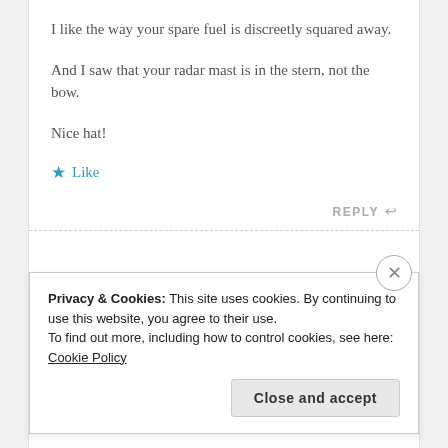I like the way your spare fuel is discreetly squared away.
And I saw that your radar mast is in the stern, not the bow.
Nice hat!
★ Like
REPLY ↩
Privacy & Cookies: This site uses cookies. By continuing to use this website, you agree to their use.
To find out more, including how to control cookies, see here: Cookie Policy
Close and accept